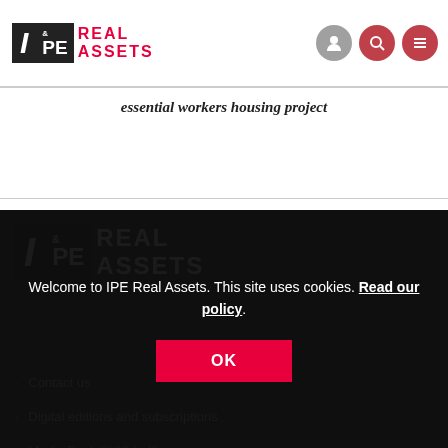[Figure (logo): IPE Real Assets logo in top navigation bar]
[Figure (screenshot): Navigation icons: person, search, menu]
essential workers housing project
[Figure (logo): IPE Real Assets logo in dark footer]
Welcome to IPE Real Assets. This site uses cookies. Read our policy.
OK
Contact us
Digital editions and subscriptions
Media Pack 2022 (pdf)
Editorial Outline 2022